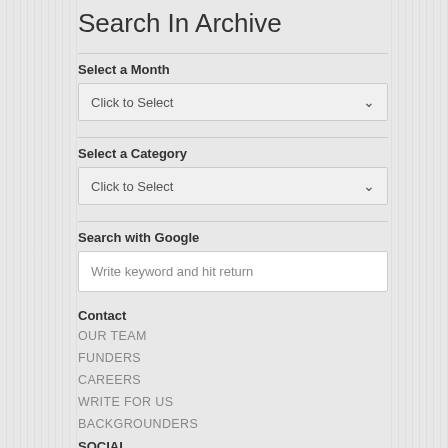Search In Archive
Select a Month
Click to Select
Select a Category
Click to Select
Search with Google
Write keyword and hit return
Contact
OUR TEAM
FUNDERS
CAREERS
WRITE FOR US
BACKGROUNDERS
SOCIAL
FACEBOOK
TWITTER
GOOGLE+
LINKEDIN